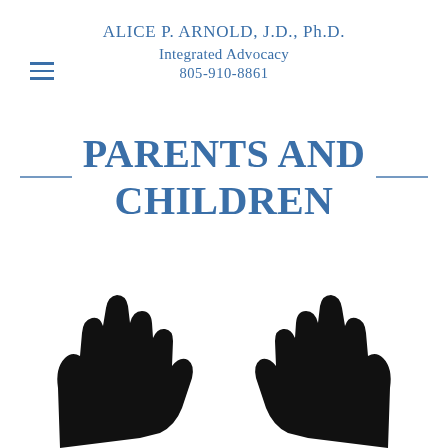ALICE P. ARNOLD, J.D., Ph.D.
Integrated Advocacy
805-910-8861
PARENTS AND CHILDREN
[Figure (illustration): Silhouette of two adult hands raised upward from the bottom of the image, suggesting outstretched or reaching hands, rendered in solid black against a white background.]